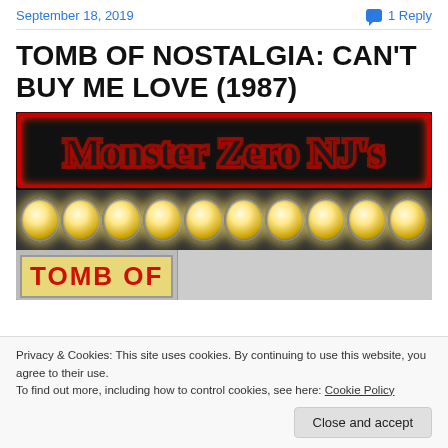September 18, 2019 | 1 Reply
TOMB OF NOSTALGIA: CAN'T BUY ME LOVE (1987)
[Figure (photo): Monster Zero NJ's marquee banner with red glowing text on black background, a row of marquee lights below, and a partial 'TOMB OF' text strip at the bottom with a face silhouette]
Privacy & Cookies: This site uses cookies. By continuing to use this website, you agree to their use.
To find out more, including how to control cookies, see here: Cookie Policy
Close and accept